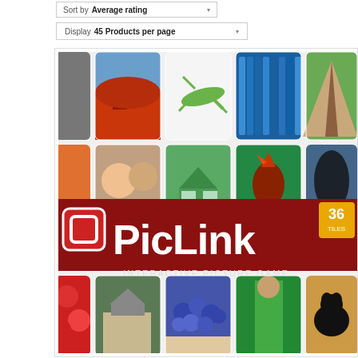Sort by Average rating
Display 45 Products per page
[Figure (photo): PicLink Interactive Picture Game box cover showing a grid of colorful photos (red barn, grasshopper, pencils, teepee, couple, green house, rooster, shadowy figure, flowers, estate, blueberries, person in green sari, black dog) with the PicLink logo on a dark red banner in the center and '36 TILES' badge in the top right corner, and 'INTERACTIVE PICTURE GAME' text below the logo.]